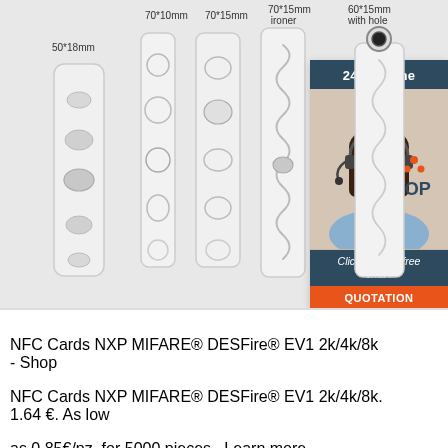[Figure (photo): Five NFC laundry tag variants shown vertically: 50*18mm, 70*10mm, 70*15mm, 70*15mm ironer, and 60*15mm with hole. On the right side, a customer service chat overlay with a woman wearing a headset, '24/7 Online' header, 'Click here for free chat!' text, and orange 'QUOTATION' button.]
NFC Cards NXP MIFARE® DESFire® EV1 2k/4k/8k - Shop NFC Cards NXP MIFARE® DESFire® EV1 2k/4k/8k. 1.64 €. As low as 0.85€/pz. for 5000 pieces . Learn more. Reference 0501100601. PVC NFC smartcards with Chip NXP MIFARE® DESFire® EV1.